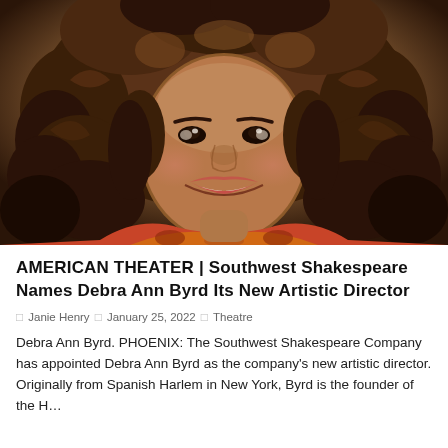[Figure (photo): Portrait photo of Debra Ann Byrd, a smiling woman with large curly brown hair, wearing a colorful patterned top]
AMERICAN THEATER | Southwest Shakespeare Names Debra Ann Byrd Its New Artistic Director
Janie Henry  |  January 25, 2022  |  Theatre
Debra Ann Byrd. PHOENIX: The Southwest Shakespeare Company has appointed Debra Ann Byrd as the company's new artistic director. Originally from Spanish Harlem in New York, Byrd is the founder of the H…